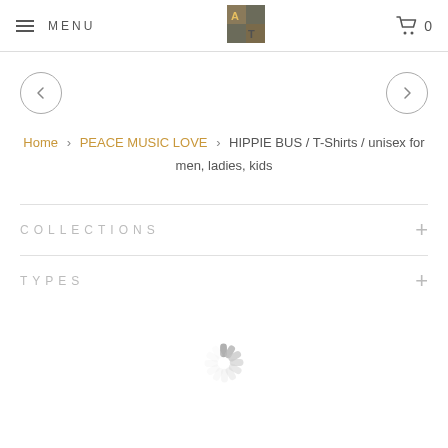MENU | [logo] | 0
[Figure (other): Navigation arrows: left arrow circle and right arrow circle]
Home › PEACE MUSIC LOVE › HIPPIE BUS / T-Shirts / unisex for men, ladies, kids
COLLECTIONS +
TYPES +
[Figure (other): Loading spinner graphic]